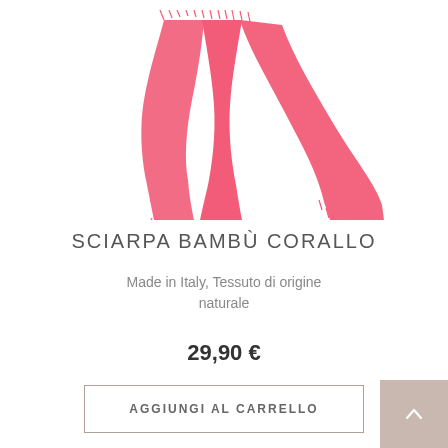[Figure (photo): Coral/pink bamboo scarf draped and displayed against white background]
SCIARPA BAMBÙ CORALLO
Made in Italy, Tessuto di origine naturale
29,90 €
AGGIUNGI AL CARRELLO